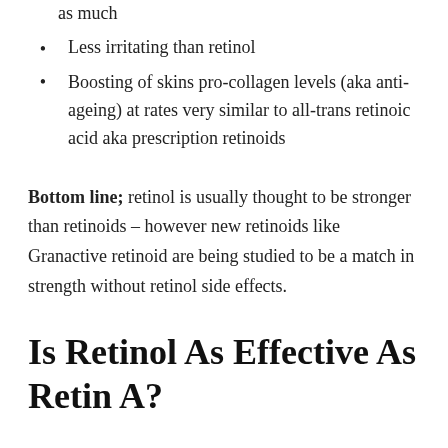as much
Less irritating than retinol
Boosting of skins pro-collagen levels (aka anti-ageing) at rates very similar to all-trans retinoic acid aka prescription retinoids
Bottom line; retinol is usually thought to be stronger than retinoids – however new retinoids like Granactive retinoid are being studied to be a match in strength without retinol side effects.
Is Retinol As Effective As Retin A?